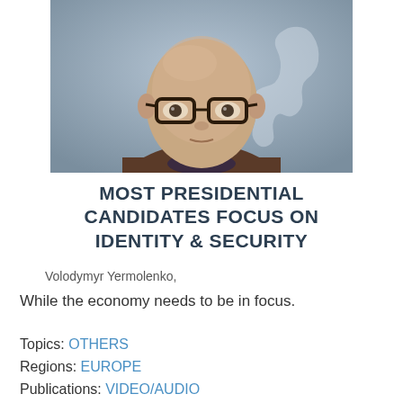[Figure (photo): Headshot photo of a bald man wearing glasses and a dark sweater, appearing to be in a video interview setting with a blue/grey background.]
MOST PRESIDENTIAL CANDIDATES FOCUS ON IDENTITY & SECURITY
Volodymyr Yermolenko,
While the economy needs to be in focus.
Topics: OTHERS
Regions: EUROPE
Publications: VIDEO/AUDIO